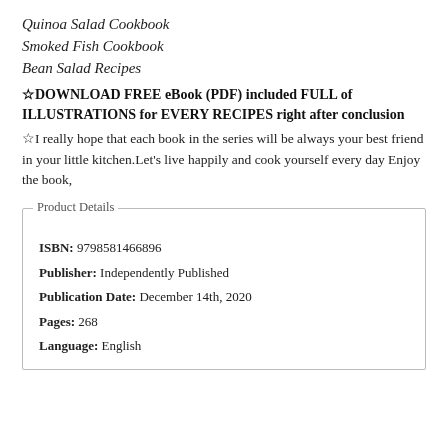Quinoa Salad Cookbook
Smoked Fish Cookbook
Bean Salad Recipes
☆DOWNLOAD FREE eBook (PDF) included FULL of ILLUSTRATIONS for EVERY RECIPES right after conclusion
☆I really hope that each book in the series will be always your best friend in your little kitchen.Let's live happily and cook yourself every day Enjoy the book,
Product Details
| ISBN: | 9798581466896 |
| Publisher: | Independently Published |
| Publication Date: | December 14th, 2020 |
| Pages: | 268 |
| Language: | English |